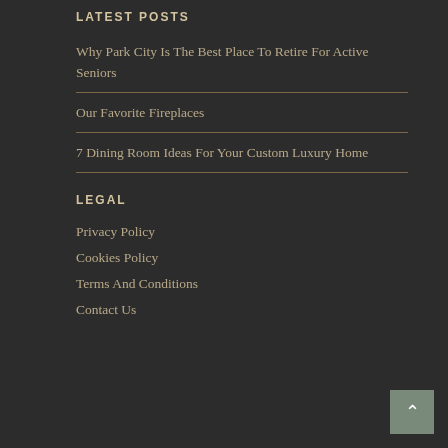LATEST POSTS
Why Park City Is The Best Place To Retire For Active Seniors
Our Favorite Fireplaces
7 Dining Room Ideas For Your Custom Luxury Home
LEGAL
Privacy Policy
Cookies Policy
Terms And Conditions
Contact Us